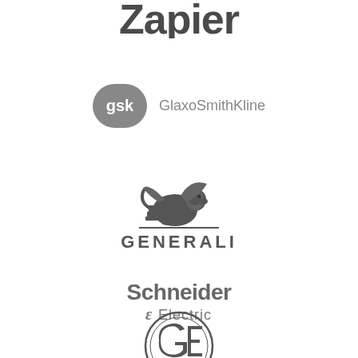[Figure (logo): Zapier logo — bold stylized wordmark in dark gray]
[Figure (logo): GSK GlaxoSmithKline logo — rounded shield badge with 'gsk' in white and 'GlaxoSmithKline' text in gray]
[Figure (logo): Generali logo — winged lion heraldic emblem above the word GENERALI in dark gray capital letters]
[Figure (logo): Schneider Electric logo — 'Schneider Electric' wordmark with stylized 'e' icon in gray]
[Figure (logo): GE (General Electric) logo — circular monogram mark in dark gray]
[Figure (logo): Partially visible logo at the bottom of the page]